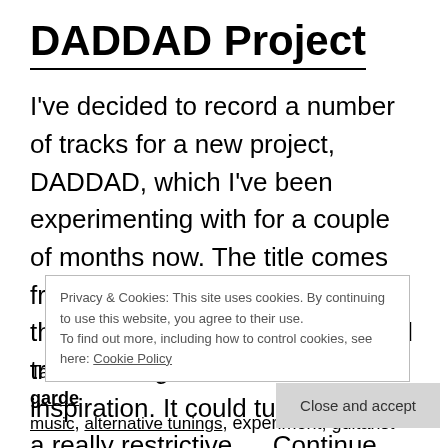DADDAD Project
I've decided to record a number of tracks for a new project, DADDAD, which I've been experimenting with for a couple of months now. The title comes from the tuning – DADDAD, and the plan is to record 6 improvised tracks using the notes as inspiration. It could turn out to be a really restrictive…  Continue reading
Privacy & Cookies: This site uses cookies. By continuing to use this website, you agree to their use.
To find out more, including how to control cookies, see here: Cookie Policy
Close and accept
Tagged alternative tunings, avant garde, avant garde music, …